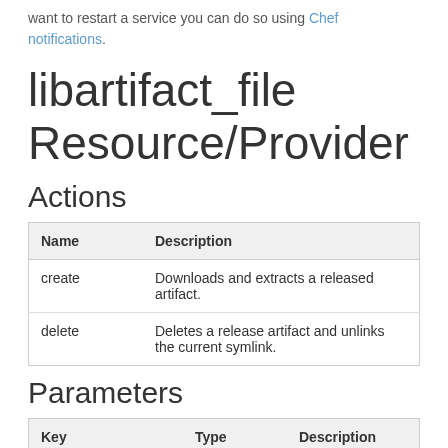want to restart a service you can do so using Chef notifications.
libartifact_file Resource/Provider
Actions
| Name | Description |
| --- | --- |
| create | Downloads and extracts a released artifact. |
| delete | Deletes a release artifact and unlinks the current symlink. |
Parameters
| Key | Type | Description |
| --- | --- | --- |
| artifact_name | String | Name of the release artifact. |
| artifact_version | String | Version of the release artifact. |
| install_path | String | Absolute path to the base location for extracting release artifact. |